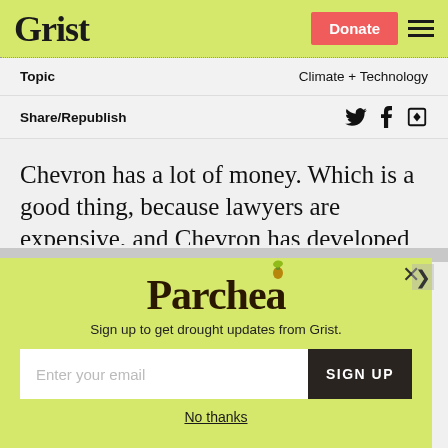Grist | Donate | menu
Topic    Climate + Technology
Share/Republish
Chevron has a lot of money. Which is a good thing, because lawyers are expensive, and Chevron has developed quite an affinity for
[Figure (screenshot): Parchea newsletter signup modal popup with yellow-green background. Contains the 'Parchea' logo with decorative leaf illustration, text 'Sign up to get drought updates from Grist.', an email input field, a SIGN UP button, and a 'No thanks' link. A close button (X) is visible in the upper right corner.]